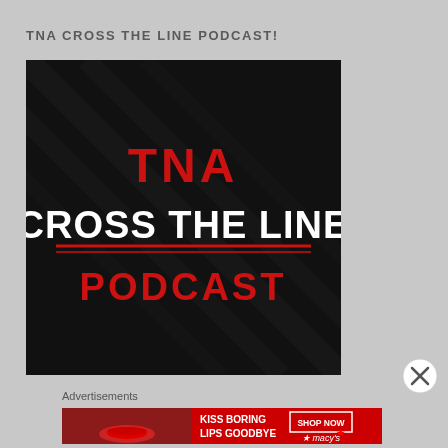TNA CROSS THE LINE PODCAST!
[Figure (illustration): TNA Cross The Line Podcast logo — black background with red diagonal texture. Text reads 'TNA' in bold red at top, 'CROSS THE LINE' in large bold white letters with red underlines, and 'PODCAST' in bold red letters below.]
Advertisements
[Figure (illustration): Macy's advertisement banner: 'KISS BORING LIPS GOODBYE' with woman's face close-up showing red lips, 'SHOP NOW' button and Macy's star logo on right side, red background.]